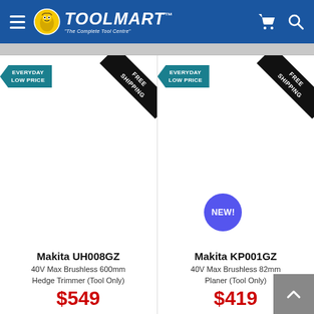TOOLMART - The Complete Tool Centre
[Figure (screenshot): Product card for Makita UH008GZ with Everyday Low Price badge and Free Shipping ribbon]
Makita UH008GZ
40V Max Brushless 600mm Hedge Trimmer (Tool Only)
$549
[Figure (screenshot): Product card for Makita KP001GZ with Everyday Low Price badge, Free Shipping ribbon, and NEW! badge]
Makita KP001GZ
40V Max Brushless 82mm Planer (Tool Only)
$419